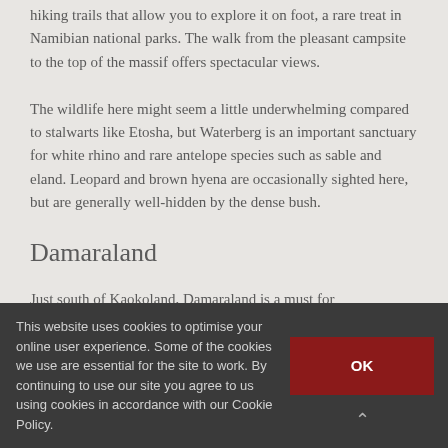hiking trails that allow you to explore it on foot, a rare treat in Namibian national parks. The walk from the pleasant campsite to the top of the massif offers spectacular views.
The wildlife here might seem a little underwhelming compared to stalwarts like Etosha, but Waterberg is an important sanctuary for white rhino and rare antelope species such as sable and eland. Leopard and brown hyena are occasionally sighted here, but are generally well-hidden by the dense bush.
Damaraland
Just south of Kaokoland, Damaraland is a must for
This website uses cookies to optimise your online user experience. Some of the cookies we use are essential for the site to work. By continuing to use our site you agree to us using cookies in accordance with our Cookie Policy.